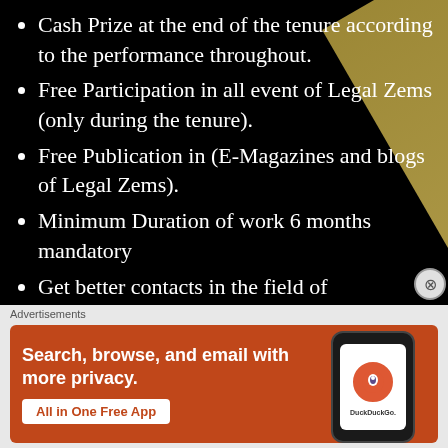Cash Prize at the end of the tenure according to the performance throughout.
Free Participation in all event of Legal Zems (only during the tenure).
Free Publication in (E-Magazines and blogs of Legal Zems).
Minimum Duration of work 6 months mandatory
Get better contacts in the field of
Advertisements
[Figure (screenshot): DuckDuckGo advertisement banner with orange background. Text reads: Search, browse, and email with more privacy. All in One Free App. Shows a phone mockup with DuckDuckGo logo.]